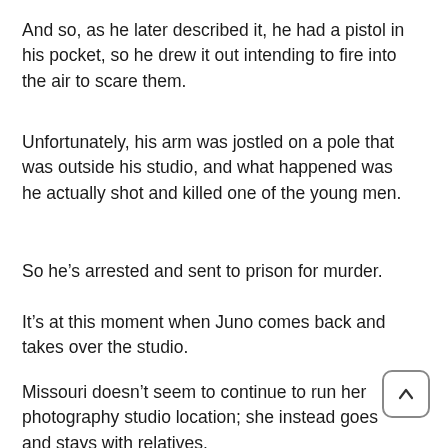And so, as he later described it, he had a pistol in his pocket, so he drew it out intending to fire into the air to scare them.
Unfortunately, his arm was jostled on a pole that was outside his studio, and what happened was he actually shot and killed one of the young men.
So he’s arrested and sent to prison for murder.
It’s at this moment when Juno comes back and takes over the studio.
Missouri doesn’t seem to continue to run her photography studio location; she instead goes and stays with relatives.